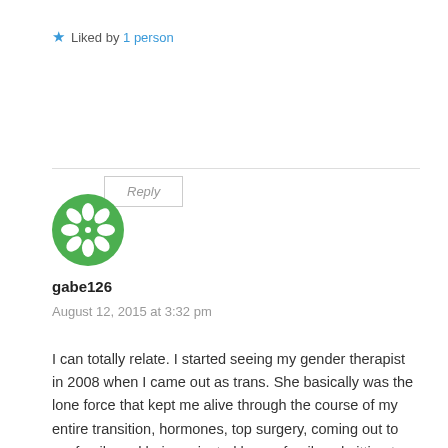★ Liked by 1 person
Reply
[Figure (illustration): Green decorative circular avatar/logo with floral/snowflake pattern]
gabe126
August 12, 2015 at 3:32 pm
I can totally relate. I started seeing my gender therapist in 2008 when I came out as trans. She basically was the lone force that kept me alive through the course of my entire transition, hormones, top surgery, coming out to my family and being rejected by my family, admitting to my addictions and getting clean, two suicide attempts and 8